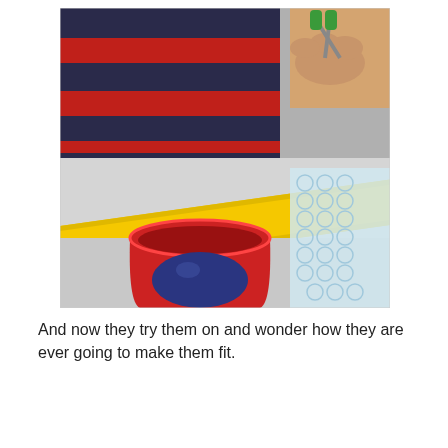[Figure (photo): A photo showing a person's hands using green scissors to cut red and dark plaid fleece fabric. There is a yellow foam pool noodle across a grey surface, and in the foreground a red bucket/cup contains a large dark blue ball. Bubble wrap is visible on the right side.]
And now they try them on and wonder how they are ever going to make them fit.